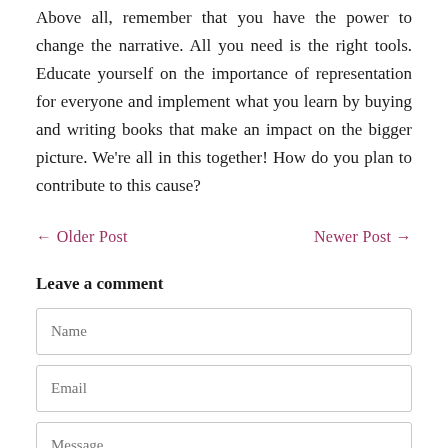Above all, remember that you have the power to change the narrative. All you need is the right tools. Educate yourself on the importance of representation for everyone and implement what you learn by buying and writing books that make an impact on the bigger picture. We're all in this together! How do you plan to contribute to this cause?
← Older Post    Newer Post →
Leave a comment
Name
Email
Message